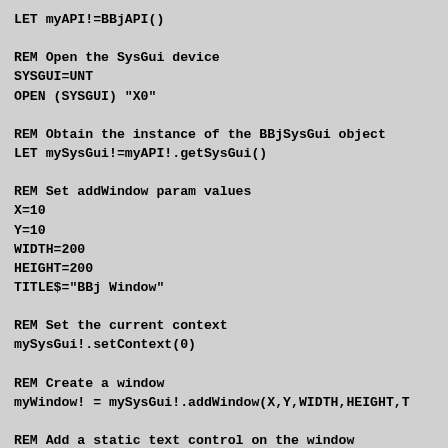LET myAPI!=BBjAPI()

REM Open the SysGui device
SYSGUI=UNT
OPEN (SYSGUI) "X0"

REM Obtain the instance of the BBjSysGui object
LET mySysGui!=myAPI!.getSysGui()

REM Set addWindow param values
X=10
Y=10
WIDTH=200
HEIGHT=200
TITLE$="BBj Window"

REM Set the current context
mySysGui!.setContext(0)

REM Create a window
myWindow! = mySysGui!.addWindow(X,Y,WIDTH,HEIGHT,T

REM Add a static text control on the window
myStaticText! = myWindow!.addStaticText(101,50,100

REM Register the CALLBACK routines
CALLBACK(ON_CLOSE,APP_CLOSE,mySysGui!.getContext()